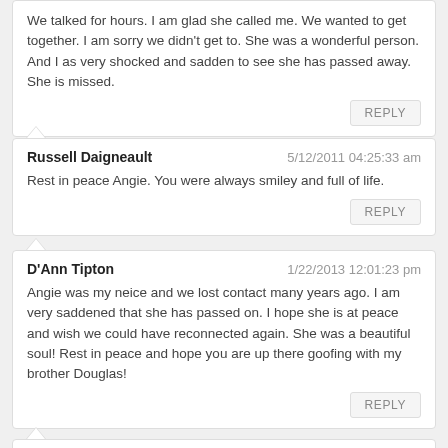We talked for hours. I am glad she called me. We wanted to get together. I am sorry we didn't get to. She was a wonderful person. And I as very shocked and sadden to see she has passed away. She is missed.
REPLY
Russell Daigneault
5/12/2011 04:25:33 am
Rest in peace Angie. You were always smiley and full of life.
REPLY
D'Ann Tipton
1/22/2013 12:01:23 pm
Angie was my neice and we lost contact many years ago. I am very saddened that she has passed on. I hope she is at peace and wish we could have reconnected again. She was a beautiful soul! Rest in peace and hope you are up there goofing with my brother Douglas!
REPLY
Polly Haldeman
10/29/2021 12:29:24 am